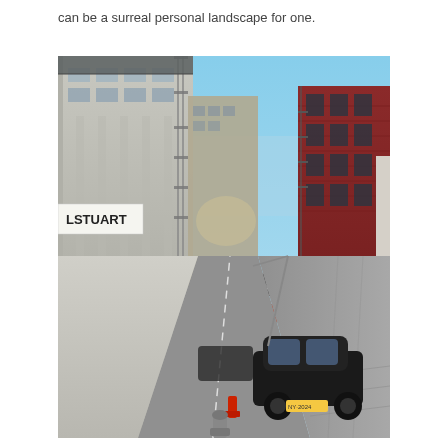can be a surreal personal landscape for one.
[Figure (photo): Street-level photograph of a New York City urban street (SoHo area), looking down a cobblestone road with buildings on both sides. Left side shows cast-iron buildings with fire escapes, a white LSTUART sign, a 'realm' store sign, and a red 'KIPLING' banner. Right side shows a red brick building and other structures. A black Volkswagen car is visible in the foreground on the right. A fire hydrant is visible in the lower center. Clear blue sky visible at the end of the street.]